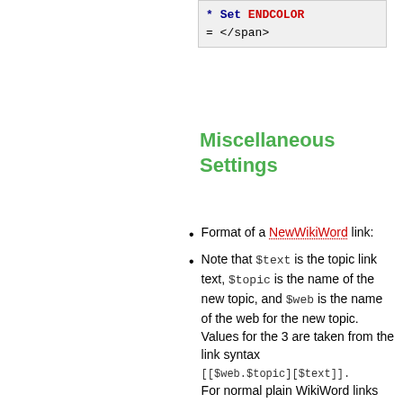[Figure (screenshot): Code box showing wiki syntax: '* Set ENDCOLOR = </span>']
Miscellaneous Settings
Format of a NewWikiWord link:
Note that $text is the topic link text, $topic is the name of the new topic, and $web is the name of the web for the new topic. Values for the 3 are taken from the link syntax [[$web.$topic][$text]]. For normal plain WikiWord links $text and $topic are